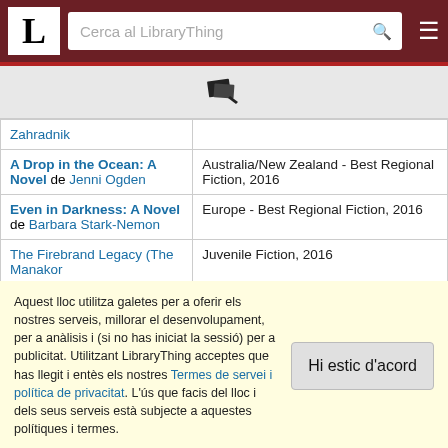LibraryThing - Cerca al LibraryThing
| Book | Category |
| --- | --- |
| Zahradnik |  |
| A Drop in the Ocean: A Novel de Jenni Ogden | Australia/New Zealand - Best Regional Fiction, 2016 |
| Even in Darkness: A Novel de Barbara Stark-Nemon | Europe - Best Regional Fiction, 2016 |
| The Firebrand Legacy (The Manakor | Juvenile Fiction, 2016 |
Aquest lloc utilitza galetes per a oferir els nostres serveis, millorar el desenvolupament, per a anàlisis i (si no has iniciat la sessió) per a publicitat. Utilitzant LibraryThing acceptes que has llegit i entès els nostres Termes de servei i política de privacitat. L'ús que facis del lloc i dels seus serveis està subjecte a aquestes polítiques i termes.